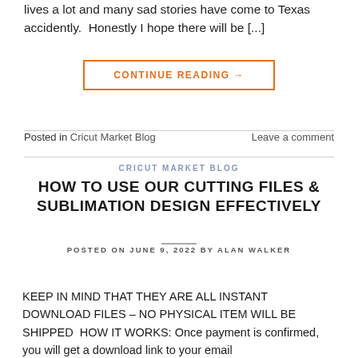lives a lot and many sad stories have come to Texas accidently.  Honestly I hope there will be [...]
CONTINUE READING →
Posted in Cricut Market Blog   Leave a comment
CRICUT MARKET BLOG
HOW TO USE OUR CUTTING FILES & SUBLIMATION DESIGN EFFECTIVELY
POSTED ON JUNE 9, 2022 BY ALAN WALKER
KEEP IN MIND THAT THEY ARE ALL INSTANT DOWNLOAD FILES – NO PHYSICAL ITEM WILL BE SHIPPED  HOW IT WORKS: Once payment is confirmed, you will get a download link to your email